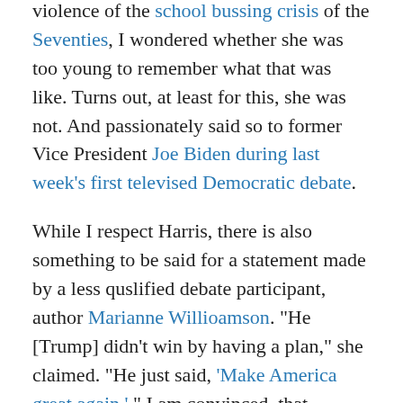violence of the school bussing crisis of the Seventies, I wondered whether she was too young to remember what that was like. Turns out, at least for this, she was not. And passionately said so to former Vice President Joe Biden during last week's first televised Democratic debate.
While I respect Harris, there is also something to be said for a statement made by a less quslified debate participant, author Marianne Willioamson. "He [Trump] didn't win by having a plan," she claimed. "He just said, 'Make America great again.' " I am convinced  that coming across as a policy wonk rather than an inspirational leader was a serious obstacle for the previous Democratic candidate, Hilary Clinton. And that this could trip up Senator Elizabeth—"I have a plan for that"—Warren—in the 2020 election. To the extent that congressional incumbents such as Cummings and presidential hopefuls